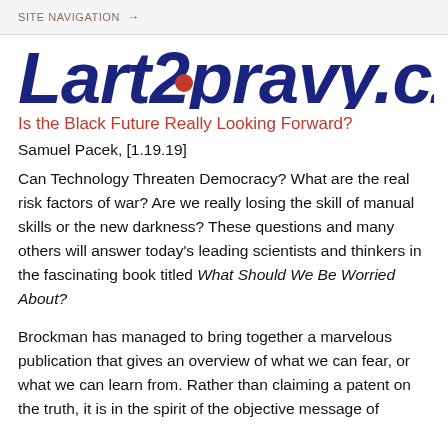SITE NAVIGATION →
[Figure (logo): Lart2pravy.cz website logo in bold dark blue italic font with a red dot accent]
Is the Black Future Really Looking Forward?
Samuel Pacek, [1.19.19]
Can Technology Threaten Democracy? What are the real risk factors of war? Are we really losing the skill of manual skills or the new darkness? These questions and many others will answer today's leading scientists and thinkers in the fascinating book titled What Should We Be Worried About?
Brockman has managed to bring together a marvelous publication that gives an overview of what we can fear, or what we can learn from. Rather than claiming a patent on the truth, it is in the spirit of the objective message of